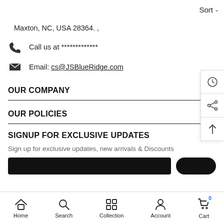Sort
Maxton, NC, USA 28364. ,
Call us at *************
Email: cs@JSBlueRidge.com
OUR COMPANY
OUR POLICIES
SIGNUP FOR EXCLUSIVE UPDATES
Sign up for exclusive updates, new arrivals & Discounts
Home  Search  Collection  Account  Cart